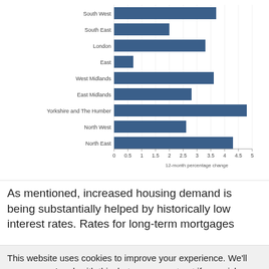[Figure (bar-chart): ]
As mentioned, increased housing demand is being substantially helped by historically low interest rates. Rates for long-term mortgages
This website uses cookies to improve your experience. We'll assume you're ok with this, but you can opt-out if you wish. Cookie settings ACCEPT